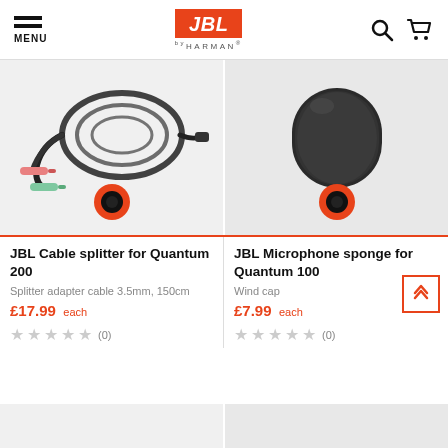JBL by HARMAN — MENU
[Figure (photo): JBL Cable splitter product image — coiled black braided cable with green and pink 3.5mm audio jacks]
[Figure (photo): JBL Microphone sponge wind cap — black foam windshield for microphone]
JBL Cable splitter for Quantum 200
JBL Microphone sponge for Quantum 100
Splitter adapter cable 3.5mm, 150cm
Wind cap
£17.99 each
£7.99 each
★★★★★ (0)
★★★★★ (0)